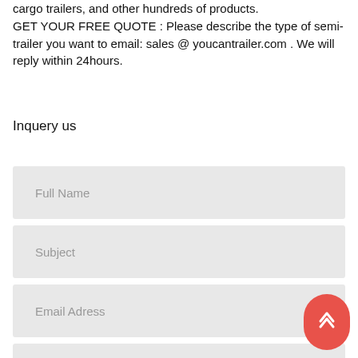cargo trailers, and other hundreds of products. GET YOUR FREE QUOTE : Please describe the type of semi-trailer you want to email: sales @ youcantrailer.com . We will reply within 24hours.
Inquery us
Full Name
Subject
Email Adress
Phone Number